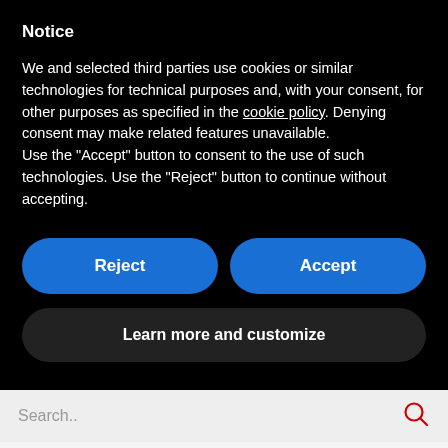Notice
We and selected third parties use cookies or similar technologies for technical purposes and, with your consent, for other purposes as specified in the cookie policy. Denying consent may make related features unavailable.
Use the “Accept” button to consent to the use of such technologies. Use the “Reject” button to continue without accepting.
Reject
Accept
Learn more and customize
Search..
Chatterbox on air